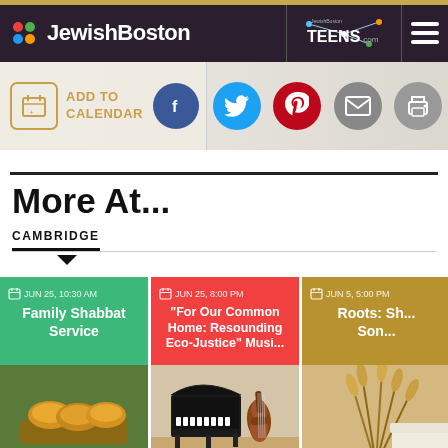JewishBoston / JewishBostonTEENS.com
[Figure (screenshot): Social sharing bar with Add to Calendar button, Facebook, Twitter, Pinterest, email, and print icons]
More At...
CAMBRIDGE
[Figure (photo): Three event cards: Family Shabbat Service (JUN 25, 10:30 AM) with challah bread photo; For Our Common Home: Resounding Eco-Justice Music... (JUN 25, 8:00 PM) with piano and violin photo; Roots: Sh... Son... (JUN 5, 5:00 PM) with wheat photo]